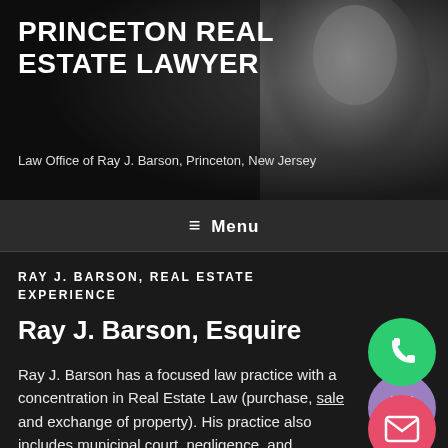[Figure (photo): Black and white photo of an elderly person, used as website header background image]
PRINCETON REAL ESTATE LAWYER
Law Office of Ray J. Barson, Princeton, New Jersey
≡  Menu
RAY J. BARSON, REAL ESTATE EXPERIENCE
Ray J. Barson, Esquire
Ray J. Barson has a focused law practice with a concentration in Real Estate Law (purchase, sale and exchange of property). His practice also includes municipal court, negligence, and employment law.